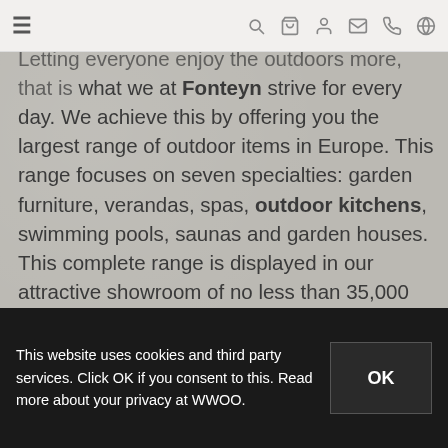≡  🔍  🛒  👤  ✉  📞  🌐
Letting everyone enjoy the outdoors more, that is what we at Fonteyn strive for every day. We achieve this by offering you the largest range of outdoor items in Europe. This range focuses on seven specialties: garden furniture, verandas, spas, outdoor kitchens, swimming pools, saunas and garden houses. This complete range is displayed in our attractive showroom of no less than 35,000 m2. The articles are also played in an attractive garden setting, so that you can gain as much inspiration as possible for your own garden.
This website uses cookies and third party services. Click OK if you consent to this. Read more about your privacy at WWOO.